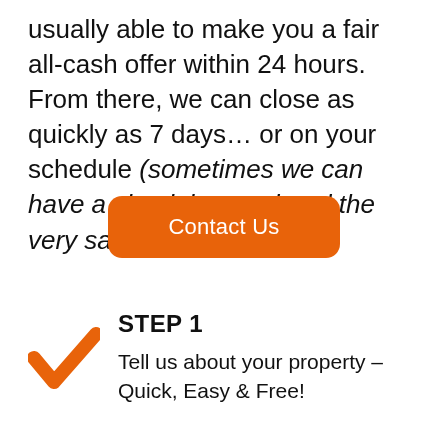usually able to make you a fair all-cash offer within 24 hours. From there, we can close as quickly as 7 days… or on your schedule (sometimes we can have a check in your hand the very same day!).
Contact Us
STEP 1
Tell us about your property – Quick, Easy & Free!